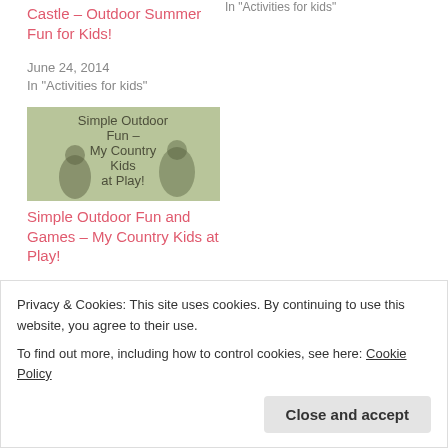In "Activities for kids"
Castle – Outdoor Summer Fun for Kids!
June 24, 2014
In "Activities for kids"
[Figure (photo): Thumbnail image with text overlay: 'Simple Outdoor Fun – My Country Kids at Play!' on a green/outdoor background with children silhouette]
Simple Outdoor Fun and Games – My Country Kids at Play!
May 9, 2014
In "Activities for kids"
Privacy & Cookies: This site uses cookies. By continuing to use this website, you agree to their use.
To find out more, including how to control cookies, see here: Cookie Policy